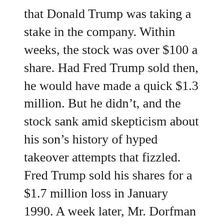that Donald Trump was taking a stake in the company. Within weeks, the stock was over $100 a share. Had Fred Trump sold then, he would have made a quick $1.3 million. But he didn't, and the stock sank amid skepticism about his son's history of hyped takeover attempts that fizzled. Fred Trump sold his shares for a $1.7 million loss in January 1990. A week later, Mr. Dorfman reported that Donald Trump had sold, too.
With other family members, Fred Trump could be cantankerous and cruel, according to sworn testimony by his relatives. “This is the stupidest thing I ever heard of,” he’d snap when someone